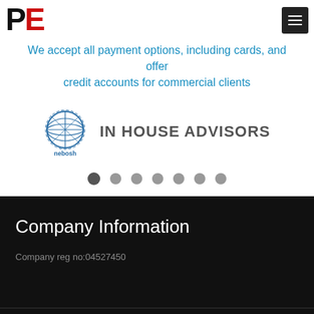PE (logo) with menu button
We accept all payment options, including cards, and offer credit accounts for commercial clients
[Figure (logo): NEBOSH globe logo with 'nebosh' text below and 'IN HOUSE ADVISORS' text to the right]
Company Information
Company reg no:04527450